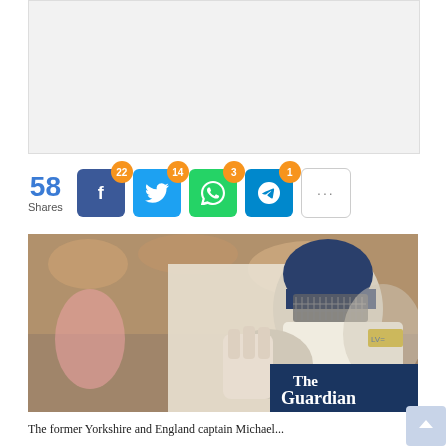[Figure (other): Advertisement placeholder banner, light gray background]
58 Shares — Facebook: 22, Twitter: 14, WhatsApp: 3, Telegram: 1, More
[Figure (photo): Cricket player in batting helmet and gloves, wearing Yorkshire/England whites with LV= armband, The Guardian logo watermark in bottom-right corner]
The former Yorkshire and England captain Michael...